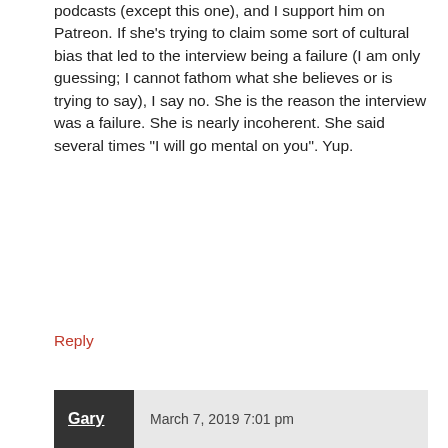podcasts (except this one), and I support him on Patreon. If she’s trying to claim some sort of cultural bias that led to the interview being a failure (I am only guessing; I cannot fathom what she believes or is trying to say), I say no. She is the reason the interview was a failure. She is nearly incoherent. She said several times “I will go mental on you”. Yup.
Reply
Gary   March 7, 2019 7:01 pm
[Figure (illustration): Cartoon avatar of a green character with antennae and red mouth]
You know that bit at the end of Apocalypse Now when Brando says to Sheen ‘You find my method unsound?’ and Sheen replies ‘I don’t see any method at all.’ It was worth listening to as an illustration of someone who wants to be controversial but isn’t. He defused her perfectly. She had very little to say. And took forever to say it. She knows nothing and should keep it to herself.